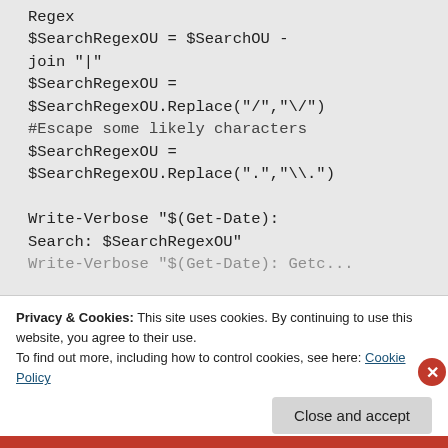Regex
$SearchRegexOU = $SearchOU -join "|"
$SearchRegexOU = $SearchRegexOU.Replace("/","\/")
#Escape some likely characters
$SearchRegexOU = $SearchRegexOU.Replace(".","\.")

Write-Verbose "$(Get-Date): Search: $SearchRegexOU"
Write-Verbose "$(Get-Date): Getc...
Privacy & Cookies: This site uses cookies. By continuing to use this website, you agree to their use.
To find out more, including how to control cookies, see here: Cookie Policy